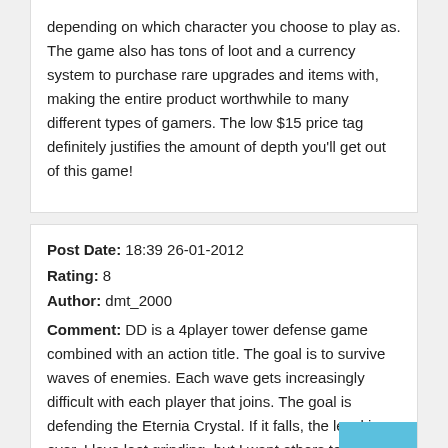depending on which character you choose to play as. The game also has tons of loot and a currency system to purchase rare upgrades and items with, making the entire product worthwhile to many different types of gamers. The low $15 price tag definitely justifies the amount of depth you'll get out of this game!
Post Date: 18:39 26-01-2012
Rating: 8
Author: dmt_2000
Comment: DD is a 4player tower defense game combined with an action title. The goal is to survive waves of enemies. Each wave gets increasingly difficult with each player that joins. The goal is defending the Eternia Crystal. If it falls, the level is over. I love loot grinding, but I want others to see how badass I am really am.